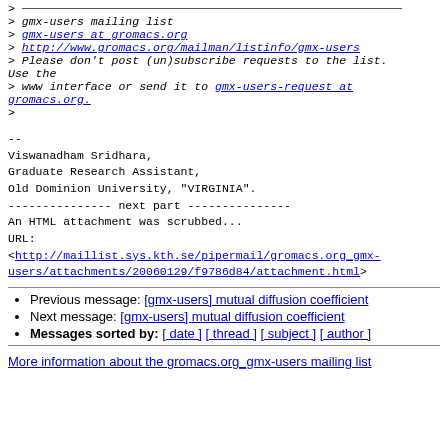> ___________________________________________
> gmx-users mailing list
> gmx-users at gromacs.org
> http://www.gromacs.org/mailman/listinfo/gmx-users
> Please don't post (un)subscribe requests to the list. Use the
> www interface or send it to gmx-users-request at gromacs.org.
>
--
Viswanadham Sridhara,
Graduate Research Assistant,
Old Dominion University, "VIRGINIA".
--------------- next part ---------------
An HTML attachment was scrubbed...
URL:
<http://maillist.sys.kth.se/pipermail/gromacs.org_gmx-users/attachments/20060129/f9786d84/attachment.html>
Previous message: [gmx-users] mutual diffusion coefficient
Next message: [gmx-users] mutual diffusion coefficient
Messages sorted by: [ date ] [ thread ] [ subject ] [ author ]
More information about the gromacs.org_gmx-users mailing list